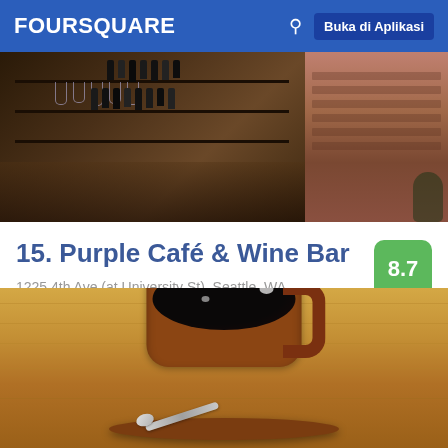FOURSQUARE  Buka di Aplikasi
[Figure (photo): Interior of a bar/restaurant showing wooden shelves with bottles and hanging wine glasses, warm lighting]
15. Purple Café & Wine Bar
1225 4th Ave (at University St), Seattle, WA
Bar Anggur · Seattle Central Business District · 185 tips dan ulasan
[Figure (photo): Close-up of a black coffee in a brown ceramic cup and saucer with a spoon, on a wooden table]